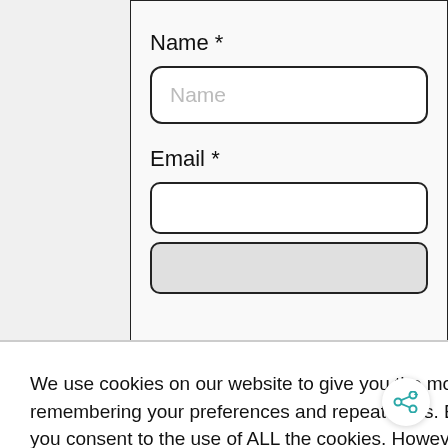Name *
[Figure (screenshot): Text input field with placeholder text 'Name']
Email *
[Figure (screenshot): Partial email input fields visible behind cookie overlay]
We use cookies on our website to give you the most relevant experience by remembering your preferences and repeat visits. By clicking “ACCEPT ALL”, you consent to the use of ALL the cookies. However, you may visit “Cookie Settings” to provide a controlled consent.
Cookie Settings
REJECT ALL
ACCEPT ALL